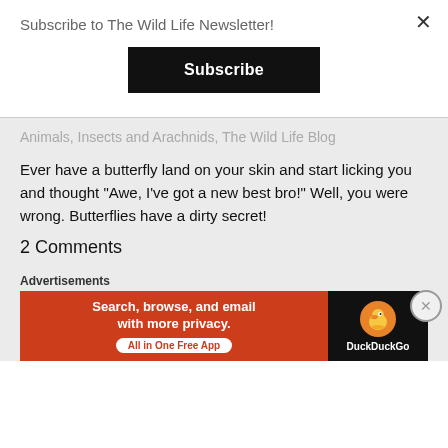×
Subscribe to The Wild Life Newsletter!
[Figure (screenshot): Black Subscribe button]
Animals, Insects and Arachnids, The Wild Life Blog
Ever have a butterfly land on your skin and start licking you and thought "Awe, I've got a new best bro!" Well, you were wrong. Butterflies have a dirty secret!
2 Comments
Advertisements
[Figure (screenshot): DuckDuckGo advertisement banner: Search, browse, and email with more privacy. All in One Free App.]